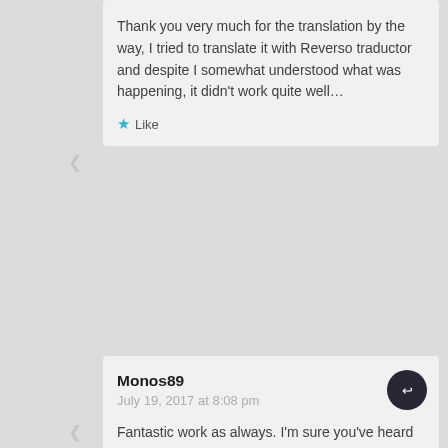Thank you very much for the translation by the way, I tried to translate it with Reverso traductor and despite I somewhat understood what was happening, it didn't work quite well…
Like
Monos89
July 19, 2017 at 8:08 pm
Fantastic work as always. I'm sure you've heard this a lot, but thank you for this
Like
smashman42
July 19, 2017 at 8:16 pm